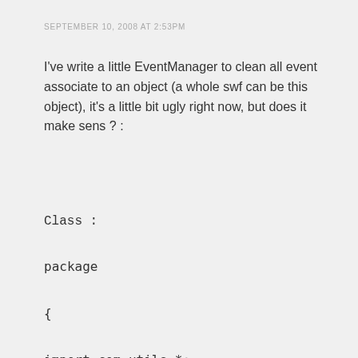SEPTEMBER 10, 2008 AT 2:53PM
I've write a little EventManager to clean all event associate to an object (a whole swf can be this object), it's a little bit ugly right now, but does it make sens ? :
Class :
package

{

import com.utils.*;

import game.*;

public class EventManager